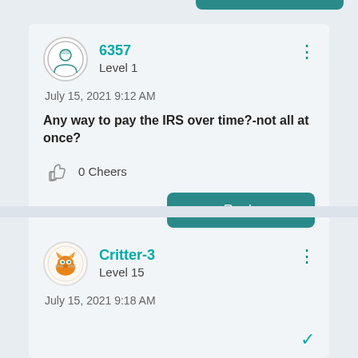[Figure (screenshot): Partial teal Reply button visible at top of page]
6357
Level 1
July 15, 2021 9:12 AM
Any way to pay the IRS over time?-not all at once?
0 Cheers
Reply
Critter-3
Level 15
July 15, 2021 9:18 AM